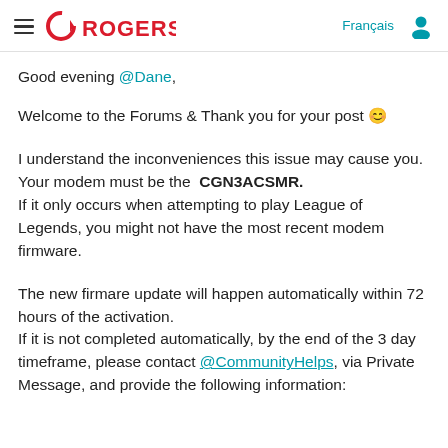ROGERS   Français
Good evening @Dane,
Welcome to the Forums & Thank you for your post 😊
I understand the inconveniences this issue may cause you. Your modem must be the CGN3ACSMR. If it only occurs when attempting to play League of Legends, you might not have the most recent modem firmware.
The new firmare update will happen automatically within 72 hours of the activation. If it is not completed automatically, by the end of the 3 day timeframe, please contact @CommunityHelps, via Private Message, and provide the following information: